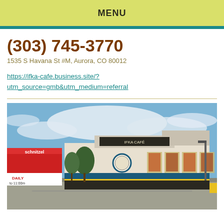MENU
(303) 745-3770
1535 S Havana St #M, Aurora, CO 80012
https://ifka-cafe.business.site/?utm_source=gmb&utm_medium=referral
[Figure (photo): Exterior photo of a commercial strip mall building with blue and yellow accents, a circular logo/sign on the facade, storefront windows with food images, trees on the left, a sign for Schnitzel on the left edge, blue sky with clouds, and a parking lot in the foreground.]